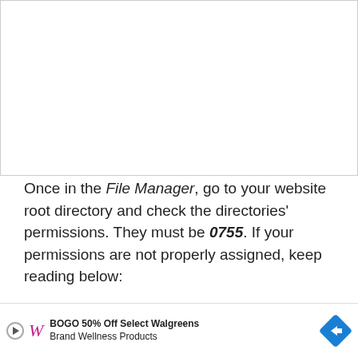[Figure (screenshot): White blank area representing top portion of a webpage screenshot]
Once in the File Manager, go to your website root directory and check the directories' permissions. They must be 0755. If your permissions are not properly assigned, keep reading below:
[Figure (screenshot): File Manager screenshot showing toolbar with Home, Up One Level, Back, Forward, Reload, Select All, Unselect All, View Trash, Empty Trash buttons, and a table header row with Name, Size, Last Modified, Type, Permissions columns. An arrow points to the Permissions column.]
[Figure (screenshot): Advertisement bar: BOGO 50% Off Select Walgreens Brand Wellness Products with Walgreens logo and blue diamond arrow icon]